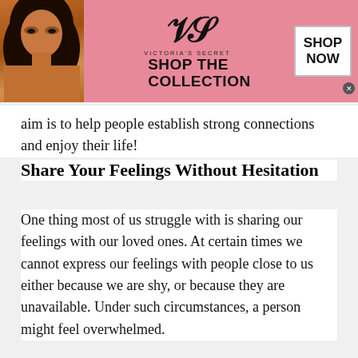[Figure (illustration): Victoria's Secret advertisement banner with a model, VS logo, 'SHOP THE COLLECTION' text and a 'SHOP NOW' button on pink background]
aim is to help people establish strong connections and enjoy their life!
Share Your Feelings Without Hesitation
One thing most of us struggle with is sharing our feelings with our loved ones. At certain times we cannot express our feelings with people close to us either because we are shy, or because they are unavailable. Under such circumstances, a person might feel overwhelmed.
[Figure (infographic): Two sponsored content ad tiles at bottom: '10 Types Of Men You Should Never Marry' (Ad by Nussy) with a man photo, and 'Discover New and Used Car Deals Near You' (Ad by CarDealsNearYou) with a car photo]